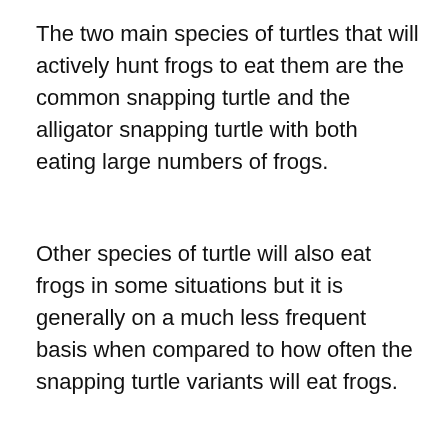The two main species of turtles that will actively hunt frogs to eat them are the common snapping turtle and the alligator snapping turtle with both eating large numbers of frogs.
Other species of turtle will also eat frogs in some situations but it is generally on a much less frequent basis when compared to how often the snapping turtle variants will eat frogs.